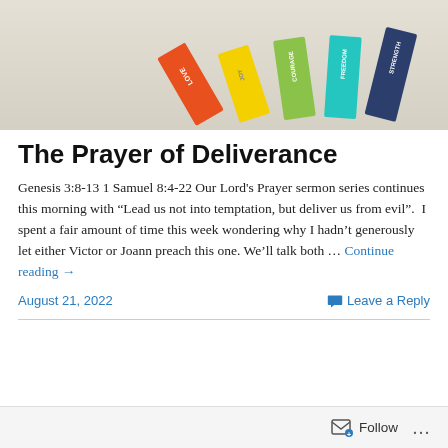[Figure (photo): Colorful word tiles (LOVE, COURAGE, FREEDOM, STRENGTH) standing upright in a fan arrangement on a light beige surface]
The Prayer of Deliverance
Genesis 3:8-13 1 Samuel 8:4-22 Our Lord's Prayer sermon series continues this morning with “Lead us not into temptation, but deliver us from evil”.  I spent a fair amount of time this week wondering why I hadn’t generously let either Victor or Joann preach this one. We’ll talk both … Continue reading →
August 21, 2022
Leave a Reply
Follow ...